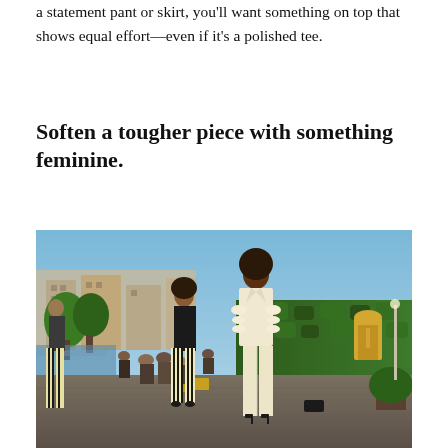a statement pant or skirt, you'll want something on top that shows equal effort—even if it's a polished tee.
Soften a tougher piece with something feminine.
[Figure (photo): Fashion show outdoors in Paris near the Seine river. Several models walking or posing on a stone walkway. Central model wears a cream/off-white structured suit with ruffled sleeves. Other models wear striped wide-leg trousers and dark jackets. Background shows Parisian buildings, green hedges, and an audience.]